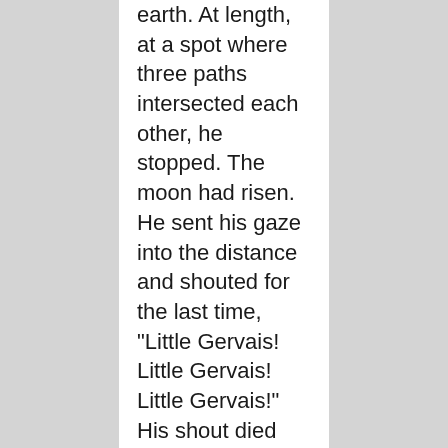earth. At length, at a spot where three paths intersected each other, he stopped. The moon had risen. He sent his gaze into the distance and shouted for the last time, "Little Gervais! Little Gervais! Little Gervais!" His shout died away in the mist, without even awakening an echo. He murmured yet once more, "Little